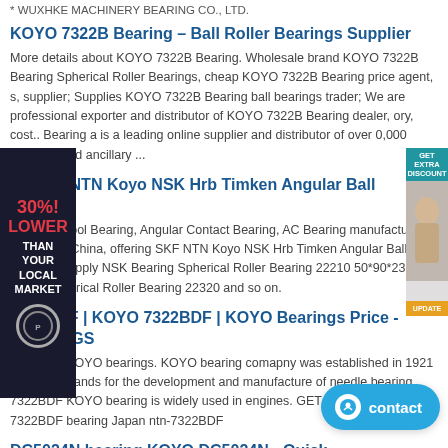* WUXHKE MACHINERY BEARING CO., LTD.
KOYO 7322B Bearing – Ball Roller Bearings Supplier
More details about KOYO 7322B Bearing. Wholesale brand KOYO 7322B Bearing Spherical Roller Bearings, cheap KOYO 7322B Bearing price agent, s, supplier; Supplies KOYO 7322B Bearing ball bearings trader; We are professional exporter and distributor of KOYO 7322B Bearing dealer, ory, cost.. Bearing a is a leading online supplier and distributor of over 0,000 bearings and ancillary ...
na SKF NTN Koyo NSK Hrb Timken Angular Ball Bearing
ver Hand Tool Bearing, Angular Contact Bearing, AC Bearing manufacturer / supplier in China, offering SKF NTN Koyo NSK Hrb Timken Angular Ball Bearing, Supply NSK Bearing Spherical Roller Bearing 22210 50*90*23, SKF Brand Spherical Roller Bearing 22320 and so on.
7322BDF | KOYO 7322BDF | KOYO Bearings Price - BEARINGS
7322BDF KOYO bearings. KOYO bearing comapny was established in 1921 in Japan, stands for the development and manufacture of needle bearing. 7322BDF KOYO bearing is widely used in engines. GET PRICE BY E-MAIL. 7322BDF bearing Japan ntn-7322BDF
DC5024N bearing KOYO DC5024N - Quick
KOYO DC5024N bearing. KOYO DC5024N. Size: KOYO DC5024N bearing